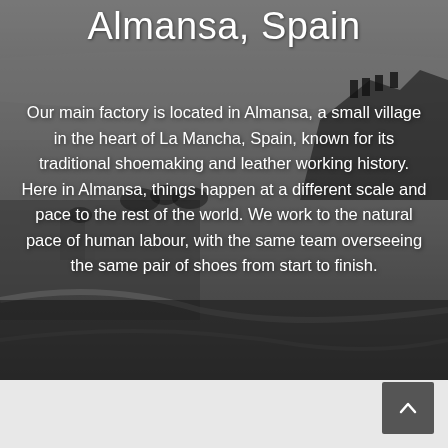[Figure (photo): Aerial black and white photograph of Almansa, Spain showing the town, castle on a rocky hill, fields and countryside in the background.]
Almansa, Spain
Our main factory is located in Almansa, a small village in the heart of La Mancha, Spain, known for its traditional shoemaking and leather working history. Here in Almansa, things happen at a different scale and pace to the rest of the world. We work to the natural pace of human labour, with the same team overseeing the same pair of shoes from start to finish.